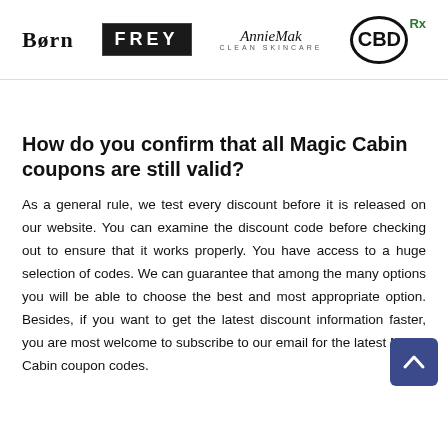[Figure (logo): Four brand logos in a row: Born (serif wordmark), FREY (white text on black box), AnnieMak Clean Skincare (italic script with subtitle), and CBDRx (circular CBD logo with green Rx superscript)]
How do you confirm that all Magic Cabin coupons are still valid?
As a general rule, we test every discount before it is released on our website. You can examine the discount code before checking out to ensure that it works properly. You have access to a huge selection of codes. We can guarantee that among the many options you will be able to choose the best and most appropriate option. Besides, if you want to get the latest discount information faster, you are most welcome to subscribe to our email for the latest Magic Cabin coupon codes.